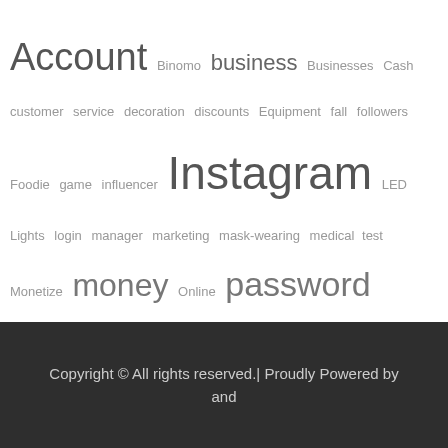[Figure (other): Tag cloud with words of varying sizes including Account, business, Instagram, password, money, and many others in grey/dark grey colors]
Copyright © All rights reserved.| Proudly Powered by and